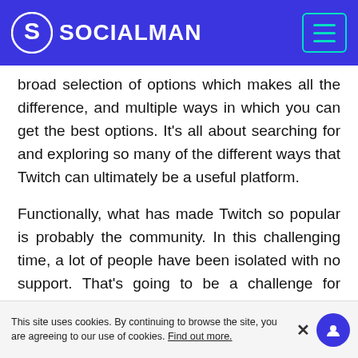SOCIALMAN
broad selection of options which makes all the difference, and multiple ways in which you can get the best options. It's all about searching for and exploring so many of the different ways that Twitch can ultimately be a useful platform.

Functionally, what has made Twitch so popular is probably the community. In this challenging time, a lot of people have been isolated with no support. That's going to be a challenge for people to try and overcome, immensely if they're not used to being by themselves, and Twitch helps a lot with the isolation. Ultimately, it falls to
This site uses cookies. By continuing to browse the site, you are agreeing to our use of cookies. Find out more.